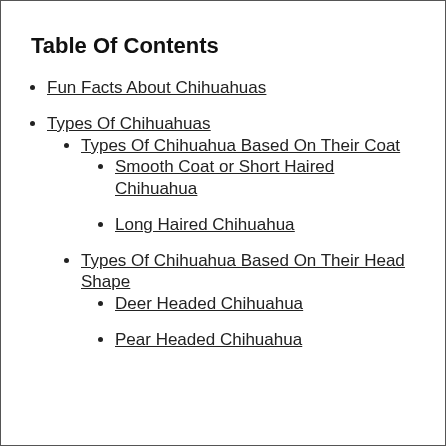Table Of Contents
Fun Facts About Chihuahuas
Types Of Chihuahuas
Types Of Chihuahua Based On Their Coat
Smooth Coat or Short Haired Chihuahua
Long Haired Chihuahua
Types Of Chihuahua Based On Their Head Shape
Deer Headed Chihuahua
Pear Headed Chihuahua